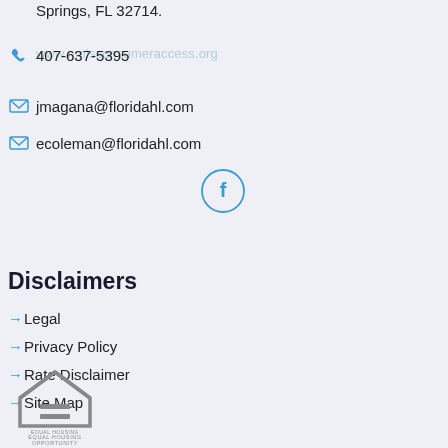Springs, FL 32714.
www.nmlsconsumeraccess.org
407-637-5395
jmagana@floridahl.com
ecoleman@floridahl.com
[Figure (other): Facebook social media icon in a circle]
Disclaimers
→Legal
→Privacy Policy
→Rate Disclaimer
→Site Map
[Figure (logo): Equal Housing Opportunity logo with house icon and text EQUAL HOUSING OPPORTUNITY]